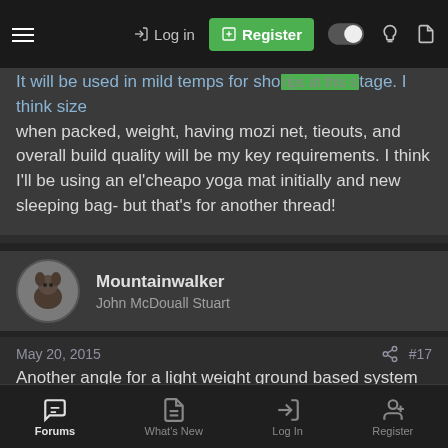Log in | Register
It will be used in mild temps for short trips at this stage. I think size when packed, weight, having mozi net, tieouts, and overall build quality will be my key requirements. I think I'll be using an el'cheapo yoga mat initially and new sleeping bag- but that's for another thread!
Mountainwalker
John McDouall Stuart
May 20, 2015  #17
Another angle for a light weight ground based system is Integral designs Silshelter Bug Liner, Terrarosa tarp (or cheap tarp) and an exped mat. Superlight and no need for a bivvy and heaps more room to move around.
Forums | What's New | Log In | Register